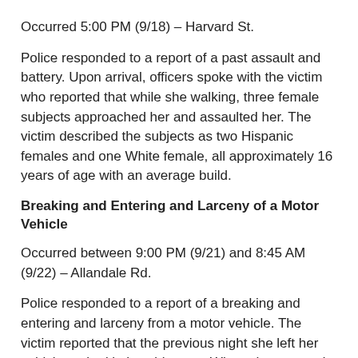Occurred 5:00 PM (9/18) – Harvard St.
Police responded to a report of a past assault and battery. Upon arrival, officers spoke with the victim who reported that while she walking, three female subjects approached her and assaulted her. The victim described the subjects as two Hispanic females and one White female, all approximately 16 years of age with an average build.
Breaking and Entering and Larceny of a Motor Vehicle
Occurred between 9:00 PM (9/21) and 8:45 AM (9/22) – Allandale Rd.
Police responded to a report of a breaking and entering and larceny from a motor vehicle. The victim reported that the previous night she left her vehicle parked in her driveway. When she returned the following morning, she discovered loose change and her Magellan GPS missing.
Larceny